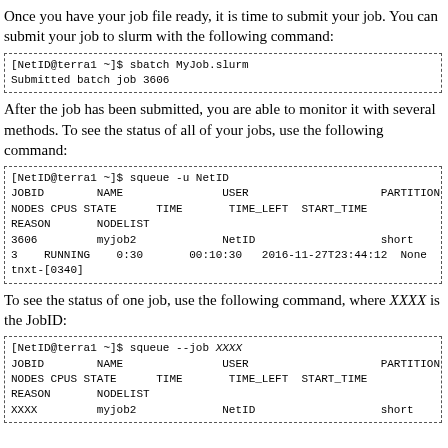Once you have your job file ready, it is time to submit your job. You can submit your job to slurm with the following command:
[Figure (screenshot): Code box showing: [NetID@terra1 ~]$ sbatch MyJob.slurm
Submitted batch job 3606]
After the job has been submitted, you are able to monitor it with several methods. To see the status of all of your jobs, use the following command:
[Figure (screenshot): Code box showing squeue -u NetID command and output with JOBID 3606, myjob2, NetID, short, 1, 3, RUNNING, 0:30, 00:10:30, 2016-11-27T23:44:12, None, tnxt-[0340]]
To see the status of one job, use the following command, where XXXX is the JobID:
[Figure (screenshot): Code box showing squeue --job XXXX command and output with JOBID XXXX, myjob2, NetID, short, 1]